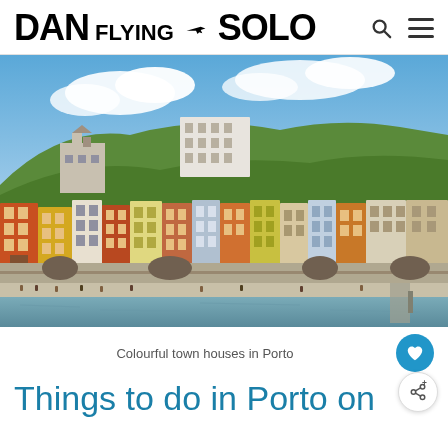DAN FLYING SOLO
[Figure (photo): Colourful town houses in Porto, Portugal, seen from across the river Douro. Hillside with vibrant orange, yellow, and white buildings stacked up the hillside, with a stone waterfront and busy promenade.]
Colourful town houses in Porto
Things to do in Porto on